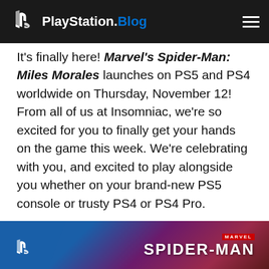PlayStation.Blog
It's finally here! Marvel's Spider-Man: Miles Morales launches on PS5 and PS4 worldwide on Thursday, November 12! From all of us at Insomniac, we're so excited for you to finally get your hands on the game this week. We're celebrating with you, and excited to play alongside you whether on your brand-new PS5 console or trusty PS4 or PS4 Pro.
We have one last trailer to celebrate launch. Check it out:
[Figure (screenshot): Thumbnail image of Marvel's Spider-Man: Miles Morales game with PlayStation logo on left and 'SPIDER-MAN' text on right against a dark purple/red background]